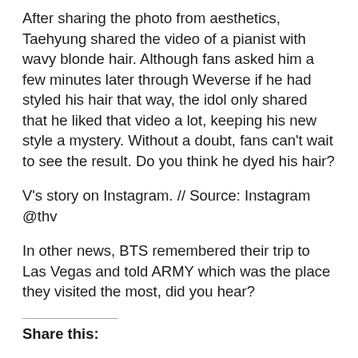After sharing the photo from aesthetics, Taehyung shared the video of a pianist with wavy blonde hair. Although fans asked him a few minutes later through Weverse if he had styled his hair that way, the idol only shared that he liked that video a lot, keeping his new style a mystery. Without a doubt, fans can’t wait to see the result. Do you think he dyed his hair?
V’s story on Instagram. // Source: Instagram @thv
In other news, BTS remembered their trip to Las Vegas and told ARMY which was the place they visited the most, did you hear?
Share this: